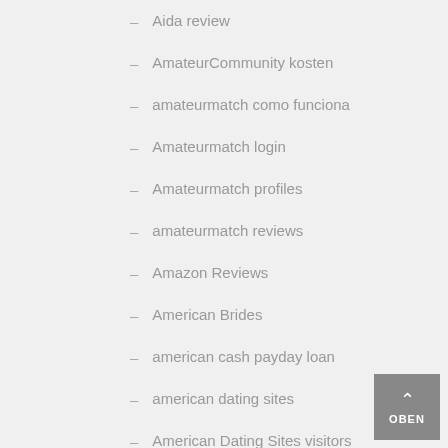– Aida review
– AmateurCommunity kosten
– amateurmatch como funciona
– Amateurmatch login
– Amateurmatch profiles
– amateurmatch reviews
– Amazon Reviews
– American Brides
– american cash payday loan
– american dating sites
– American Dating Sites visitors
– American Mail Order